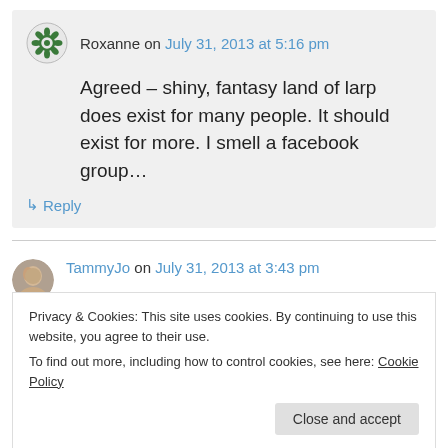Roxanne on July 31, 2013 at 5:16 pm
Agreed – shiny, fantasy land of larp does exist for many people. It should exist for more. I smell a facebook group…
↳ Reply
TammyJo on July 31, 2013 at 3:43 pm
Privacy & Cookies: This site uses cookies. By continuing to use this website, you agree to their use.
To find out more, including how to control cookies, see here: Cookie Policy
Close and accept
in cultures happen when those now have the